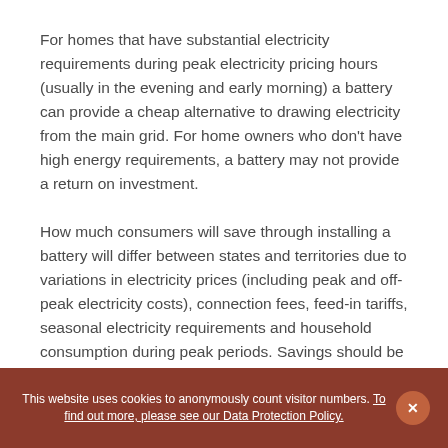For homes that have substantial electricity requirements during peak electricity pricing hours (usually in the evening and early morning) a battery can provide a cheap alternative to drawing electricity from the main grid. For home owners who don't have high energy requirements, a battery may not provide a return on investment.
How much consumers will save through installing a battery will differ between states and territories due to variations in electricity prices (including peak and off-peak electricity costs), connection fees, feed-in tariffs, seasonal electricity requirements and household consumption during peak periods. Savings should be...
This website uses cookies to anonymously count visitor numbers. To find out more, please see our Data Protection Policy.